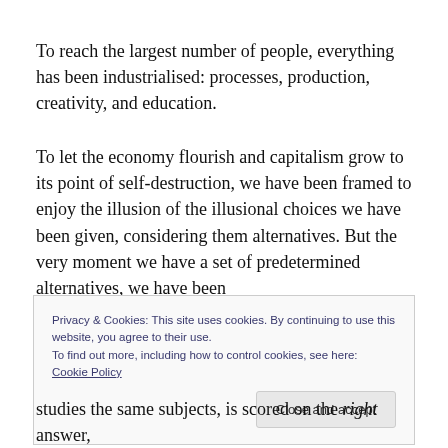To reach the largest number of people, everything has been industrialised: processes, production, creativity, and education.
To let the economy flourish and capitalism grow to its point of self-destruction, we have been framed to enjoy the illusion of the illusional choices we have been given, considering them alternatives. But the very moment we have a set of predetermined alternatives, we have been
Privacy & Cookies: This site uses cookies. By continuing to use this website, you agree to their use.
To find out more, including how to control cookies, see here: Cookie Policy
studies the same subjects, is scored on the right answer,